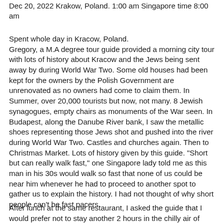Dec 20, 2022 Krakow, Poland. 1:00 am Singapore time 8:00 am
Spent whole day in Kracow, Poland.
Gregory, a M.A degree tour guide provided a morning city tour with lots of history about Kracow and the Jews being sent away by during World War Two. Some old houses had been kept for the owners by the Polish Government are unrenovated as no owners had come to claim them. In Summer, over 20,000 tourists but now, not many. 8 Jewish synagogues, empty chairs as monuments of the War seen. In Budapest, along the Danube River bank, I saw the metallic shoes representing those Jews shot and pushed into the river during World War Two. Castles and churches again. Then to Christmas Market. Lots of history given by this guide. "Short but can really walk fast," one Singapore lady told me as this man in his 30s would walk so fast that none of us could be near him whenever he had to proceed to another spot to gather us to explain the history. I had not thought of why short people can't be fast pacers.
After lunch at the same restaurant, I asked the guide that I would prefer not to stay another 2 hours in the chilly air of